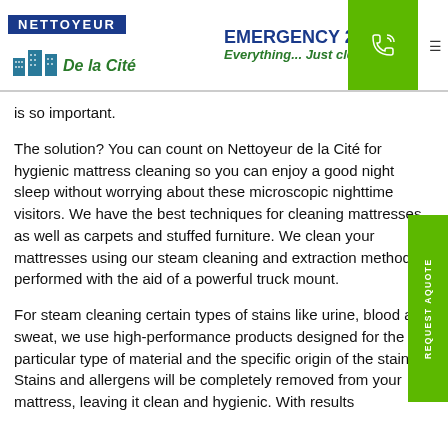[Figure (logo): Nettoyeur De la Cité logo with blue building icons, EMERGENCY 24/7 text and green phone button]
is so important.
The solution? You can count on Nettoyeur de la Cité for hygienic mattress cleaning so you can enjoy a good night sleep without worrying about these microscopic nighttime visitors. We have the best techniques for cleaning mattresses, as well as carpets and stuffed furniture. We clean your mattresses using our steam cleaning and extraction method, performed with the aid of a powerful truck mount.
For steam cleaning certain types of stains like urine, blood and sweat, we use high-performance products designed for the particular type of material and the specific origin of the stain. Stains and allergens will be completely removed from your mattress, leaving it clean and hygienic. With results